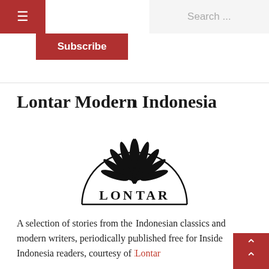≡   Search ...
Subscribe
Lontar Modern Indonesia
[Figure (logo): Lontar publisher logo: a semicircular arch with a stylized lotus/palm-leaf fan above the word LONTAR in capital letters]
A selection of stories from the Indonesian classics and modern writers, periodically published free for Inside Indonesia readers, courtesy of Lontar